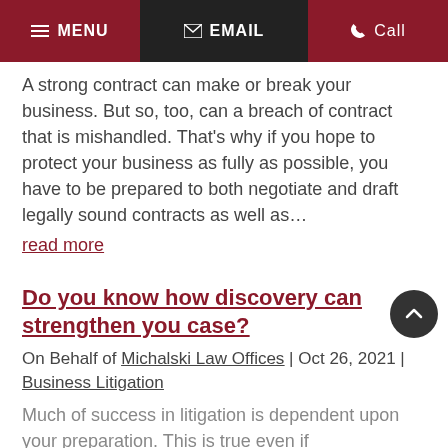MENU | EMAIL | Call
A strong contract can make or break your business. But so, too, can a breach of contract that is mishandled. That's why if you hope to protect your business as fully as possible, you have to be prepared to both negotiate and draft legally sound contracts as well as…
read more
Do you know how discovery can strengthen you case?
On Behalf of Michalski Law Offices | Oct 26, 2021 | Business Litigation
Much of success in litigation is dependent upon your preparation. This is true even if